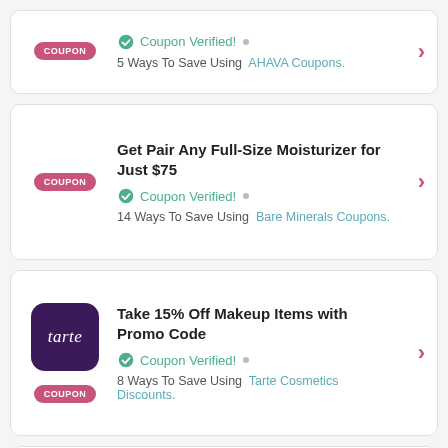Coupon Verified! • 5 Ways To Save Using AHAVA Coupons.
Get Pair Any Full-Size Moisturizer for Just $75 — Coupon Verified! • 14 Ways To Save Using Bare Minerals Coupons.
Take 15% Off Makeup Items with Promo Code — Coupon Verified! • 8 Ways To Save Using Tarte Cosmetics Discounts.
Get Free Trio+ Shipping on